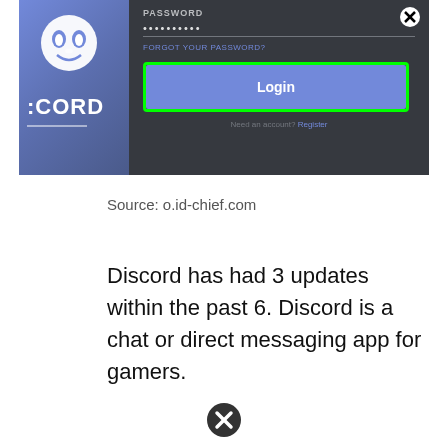[Figure (screenshot): Screenshot of Discord login page showing a password field with dots, a 'FORGOT YOUR PASSWORD?' link, and a Login button highlighted with a green border. Left side shows Discord logo/mascot and partial 'CORD' text.]
Source: o.id-chief.com
Discord has had 3 updates within the past 6. Discord is a chat or direct messaging app for gamers.
[Figure (other): Black circle with X icon at bottom of page]